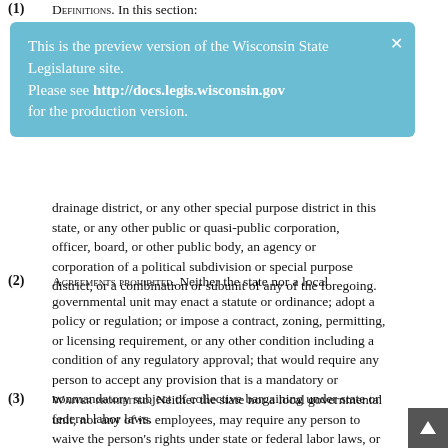(1) Definitions. In this section: district, technical college district, sewerage district, drainage district, or any other special purpose district in this state, or any other public or quasi-public corporation, officer, board, or other public body, an agency or corporation of a political subdivision or special purpose district, or a combination or subunit of any of the foregoing.
[Figure (infographic): Light blue notification banner: 'This is the preview version of the Wisconsin State Legislature site. Please see http://docs.legis.wisconsin.gov for the production version.' with a close X button.]
(2) Agreements Prohibited. Neither the state nor a local governmental unit may enact a statute or ordinance; adopt a policy or regulation; or impose a contract, zoning, permitting, or licensing requirement, or any other condition including a condition of any regulatory approval; that would require any person to accept any provision that is a mandatory or nonmandatory subject of collective bargaining under state or federal labor laws.
(3) Waiver Prohibited. Neither the state nor a local governmental unit, nor any of its employees, may require any person to waive the person's rights under state or federal labor laws, or compel or attempt to compel a person to agree to waive the person's rights under state or federal labor laws as a condition of any regulatory approval or other approval by the local